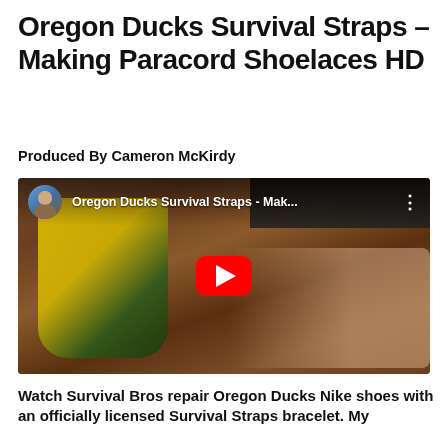Oregon Ducks Survival Straps – Making Paracord Shoelaces HD
Produced By Cameron McKirdy
[Figure (screenshot): YouTube video thumbnail showing Oregon Ducks yellow and green paracord shoelaces being made, with a YouTube play button overlay. Video title reads 'Oregon Ducks Survival Straps - Mak...' with a channel avatar on the left.]
Watch Survival Bros repair Oregon Ducks Nike shoes with an officially licensed Survival Straps bracelet. My